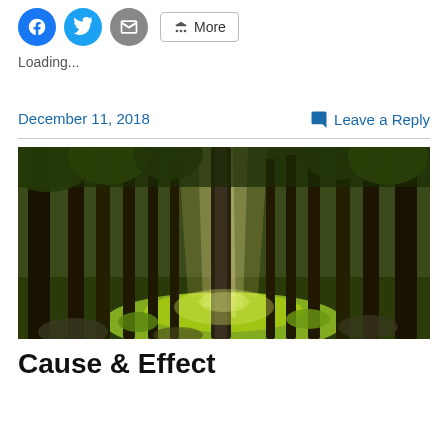[Figure (other): Social sharing buttons: Facebook (blue circle), Twitter (blue circle), Email (grey circle), and a More button with share icon]
Loading...
December 11, 2018
Leave a Reply
[Figure (photo): A sunlit forest with tall conifer trees and bright green mossy ground, rays of light streaming between the trunks]
Cause & Effect